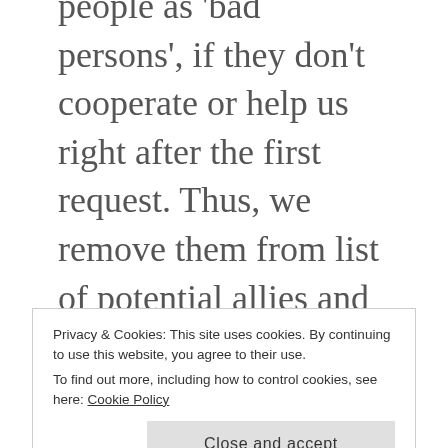people as 'bad persons', if they don't cooperate or help us right after the first request. Thus, we remove them from list of potential allies and killing the possibility for influence.
The book explains how to avoid this bias, how to understand other side
Privacy & Cookies: This site uses cookies. By continuing to use this website, you agree to their use.
To find out more, including how to control cookies, see here: Cookie Policy
[Close and accept]
in professional environment. The